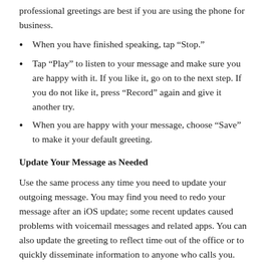professional greetings are best if you are using the phone for business.
When you have finished speaking, tap “Stop.”
Tap “Play” to listen to your message and make sure you are happy with it. If you like it, go on to the next step. If you do not like it, press “Record” again and give it another try.
When you are happy with your message, choose “Save” to make it your default greeting.
Update Your Message as Needed
Use the same process any time you need to update your outgoing message. You may find you need to redo your message after an iOS update; some recent updates caused problems with voicemail messages and related apps. You can also update the greeting to reflect time out of the office or to quickly disseminate information to anyone who calls you.
It’s never been easier to stay in touch and make the best possible impression on your callers. Ntegra IT is the trusted choice when it